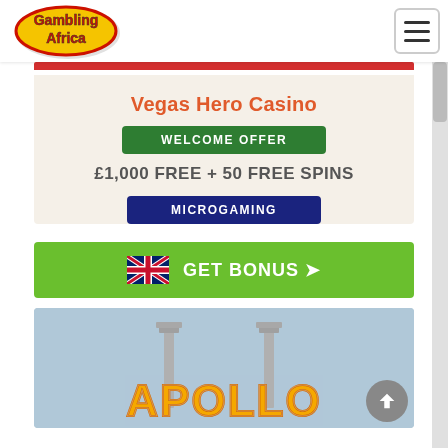Gambling Africa (logo) | hamburger menu
Vegas Hero Casino
WELCOME OFFER
£1,000 FREE + 50 FREE SPINS
MICROGAMING
GET BONUS
[Figure (screenshot): Apollo game card with light blue background and orange Apollo logo text with Greek column graphics]